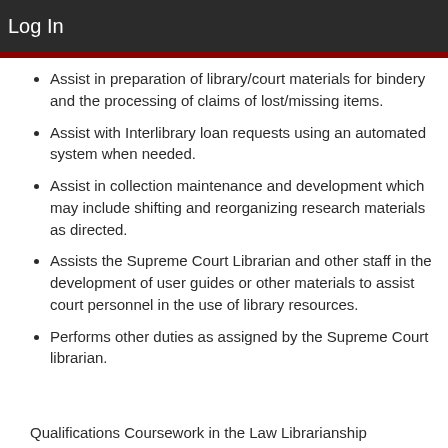Log In
Assist in preparation of library/court materials for bindery and the processing of claims of lost/missing items.
Assist with Interlibrary loan requests using an automated system when needed.
Assist in collection maintenance and development which may include shifting and reorganizing research materials as directed.
Assists the Supreme Court Librarian and other staff in the development of user guides or other materials to assist court personnel in the use of library resources.
Performs other duties as assigned by the Supreme Court librarian.
Qualifications Coursework in the Law Librarianship